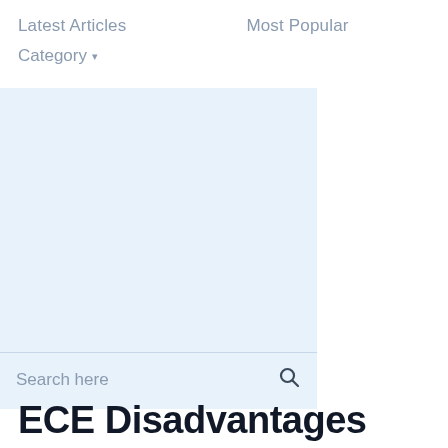Latest Articles    Most Popular
Category▾
[Figure (screenshot): Light blue search panel with a 'Search here' input field and magnifying glass icon at the bottom]
ECE Disadvantages